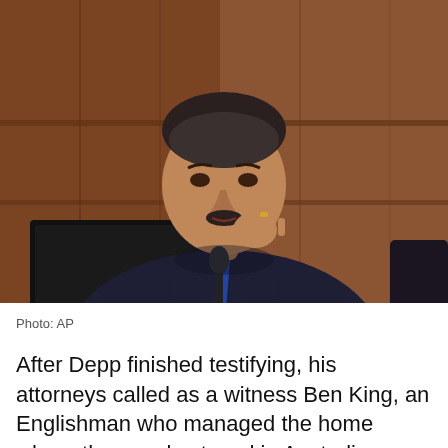[Figure (photo): A man in a dark navy suit sitting at a witness stand in a courtroom, leaning forward with his hand raised near his chin, speaking into a microphone. A laptop screen is visible in front of him. The background shows wooden courtroom paneling.]
Photo: AP
After Depp finished testifying, his attorneys called as a witness Ben King, an Englishman who managed the home where the couple stayed in Australia during the 2015 filming of the fifth